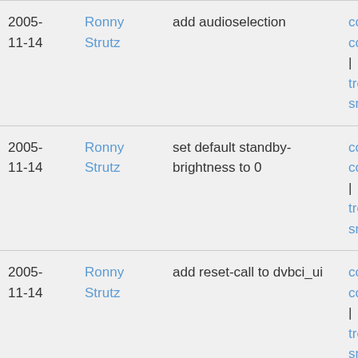| Date | Author | Message | Links |
| --- | --- | --- | --- |
| 2005-11-14 | Ronny Strutz | add audioselection | commit | commitdiff | tree | snapshot |
| 2005-11-14 | Ronny Strutz | set default standby-brightness to 0 | commit | commitdiff | tree | snapshot |
| 2005-11-14 | Ronny Strutz | add reset-call to dvbci_ui | commit | commitdiff | tree | snapshot |
| 2005-11-14 | Ronny Strutz | add audioselection, removed democode | commit | commitdiff | tree | snapshot |
| 2005-11-14 | Felix Domke | fix typos | commit | commitdiff | |